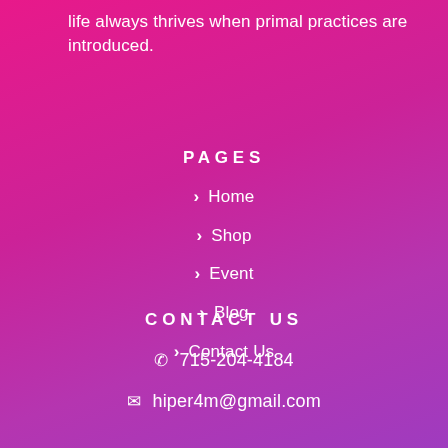life always thrives when primal practices are introduced.
PAGES
❯ Home
❯ Shop
❯ Event
❯ Blog
❯ Contact Us
CONTACT US
📞 715-204-4184
✉ hiper4m@gmail.com